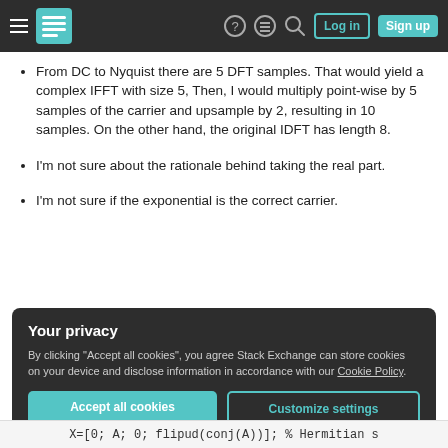Stack Exchange navigation bar
From DC to Nyquist there are 5 DFT samples. That would yield a complex IFFT with size 5, Then, I would multiply point-wise by 5 samples of the carrier and upsample by 2, resulting in 10 samples. On the other hand, the original IDFT has length 8.
I'm not sure about the rationale behind taking the real part.
I'm not sure if the exponential is the correct carrier.
Your privacy
By clicking "Accept all cookies", you agree Stack Exchange can store cookies on your device and disclose information in accordance with our Cookie Policy.
X=[0; A; 0; flipud(conj(A))]; % Hermitian s